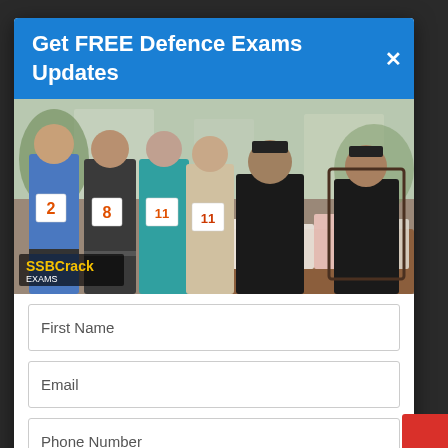Get FREE Defence Exams Updates
[Figure (photo): Group photo of students wearing numbered bibs (2, 8, 11, 11) and two officials in black uniforms seated at a desk with papers and files. SSBCrack Exams logo visible at bottom left.]
First Name
Email
Phone Number
Exam preparing for? *